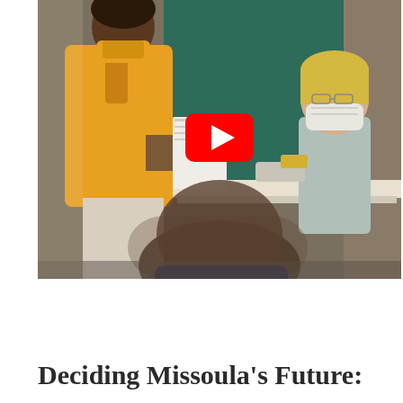[Figure (photo): A teacher in a yellow jacket stands handing papers to a masked student in a classroom setting. A second student is visible in the foreground, blurred. A green chalkboard is in the background. A YouTube play button overlay is centered on the image.]
Deciding Missoula's Future: